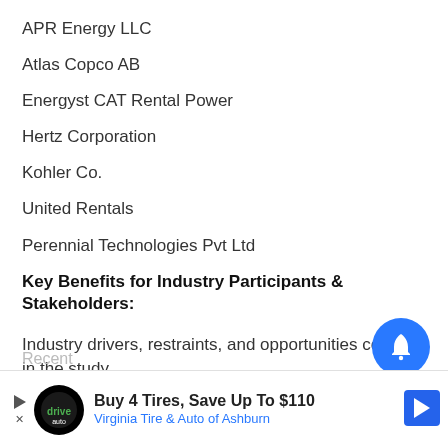APR Energy LLC
Atlas Copco AB
Energyst CAT Rental Power
Hertz Corporation
Kohler Co.
United Rentals
Perennial Technologies Pvt Ltd
Key Benefits for Industry Participants & Stakeholders:
Industry drivers, restraints, and opportunities covered in the study
Neutral perspective on the market performance
Recent
[Figure (other): Blue circular notification/bell button overlay in bottom-right corner]
[Figure (other): Advertisement banner: Buy 4 Tires, Save Up To $110 - Virginia Tire & Auto of Ashburn]